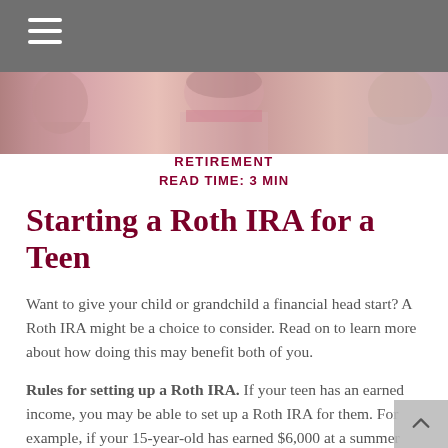[Figure (photo): Gray navigation header bar with hamburger menu icon (three white horizontal lines) in the upper left]
[Figure (photo): Cropped photo strip showing a person in a pink/mauve top, partial view of upper body]
RETIREMENT
READ TIME: 3 MIN
Starting a Roth IRA for a Teen
Want to give your child or grandchild a financial head start? A Roth IRA might be a choice to consider. Read on to learn more about how doing this may benefit both of you.
Rules for setting up a Roth IRA. If your teen has an earned income, you may be able to set up a Roth IRA for them. For example, if your 15-year-old has earned $6,000 at a summer job, you can set up an account for them up to